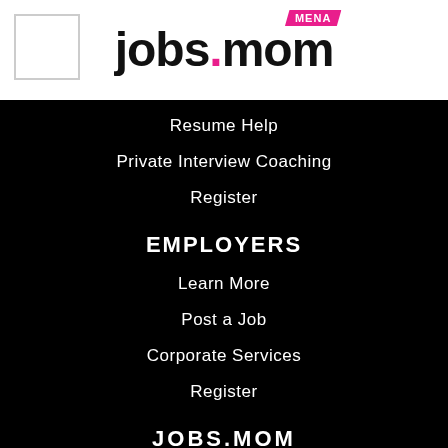[Figure (logo): jobs.mom MENA logo with pink MENA badge and bold black text]
Resume Help
Private Interview Coaching
Register
EMPLOYERS
Learn More
Post a Job
Corporate Services
Register
JOBS.MOM